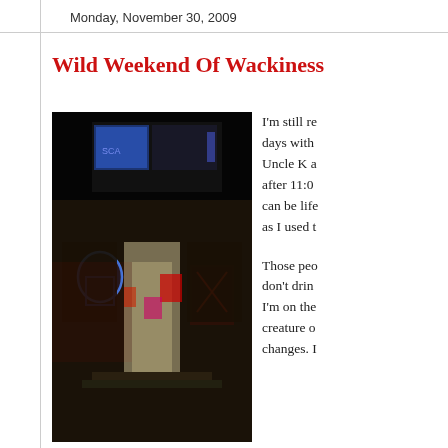Monday, November 30, 2009
Wild Weekend Of Wackiness
[Figure (photo): Night photograph of a bar or tavern exterior with neon signs visible in windows, including blue and red neon beer/drink signs, dark background]
I'm still re days with Uncle K a after 11:0 can be life as I used t
Those peo don't drin I'm on the creature o changes. I